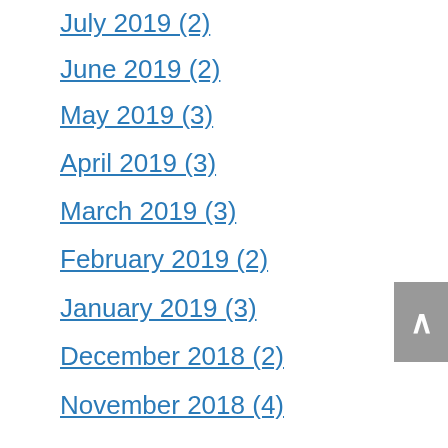July 2019 (2)
June 2019 (2)
May 2019 (3)
April 2019 (3)
March 2019 (3)
February 2019 (2)
January 2019 (3)
December 2018 (2)
November 2018 (4)